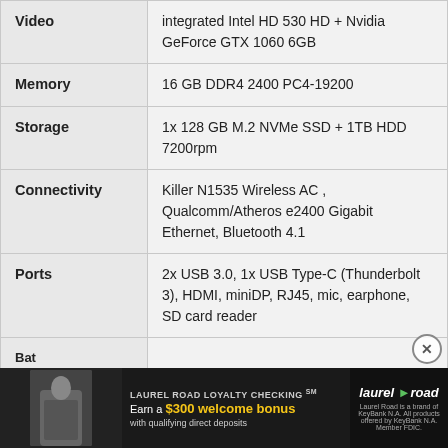| Feature | Specification |
| --- | --- |
| Video | integrated Intel HD 530 HD + Nvidia GeForce GTX 1060 6GB |
| Memory | 16 GB DDR4 2400 PC4-19200 |
| Storage | 1x 128 GB M.2 NVMe SSD + 1TB HDD 7200rpm |
| Connectivity | Killer N1535 Wireless AC , Qualcomm/Atheros e2400 Gigabit Ethernet, Bluetooth 4.1 |
| Ports | 2x USB 3.0, 1x USB Type-C (Thunderbolt 3), HDMI, miniDP, RJ45, mic, earphone, SD card reader |
| Battery | … |
| Operating System | … |